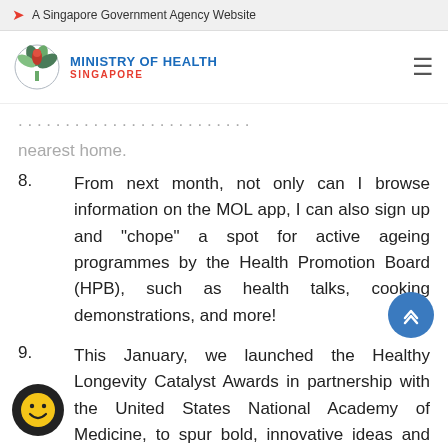A Singapore Government Agency Website
[Figure (logo): Ministry of Health Singapore logo with text 'MINISTRY OF HEALTH SINGAPORE']
nearest home.
8.   From next month, not only can I browse information on the MOL app, I can also sign up and "chope" a spot for active ageing programmes by the Health Promotion Board (HPB), such as health talks, cooking demonstrations, and more!
9.   This January, we launched the Healthy Longevity Catalyst Awards in partnership with the United States National Academy of Medicine, to spur bold, innovative ideas and technology to extend healthy longevity. This could include assistive devices, tech-enabled homes, or job redesign solutions.